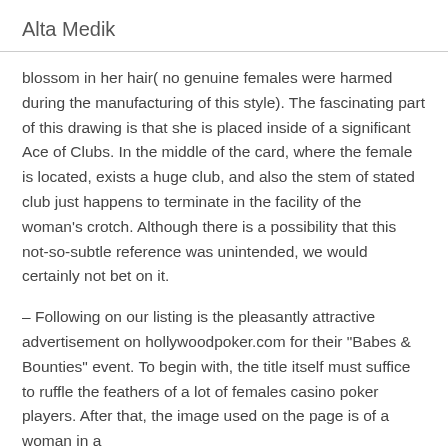Alta Medik
blossom in her hair( no genuine females were harmed during the manufacturing of this style). The fascinating part of this drawing is that she is placed inside of a significant Ace of Clubs. In the middle of the card, where the female is located, exists a huge club, and also the stem of stated club just happens to terminate in the facility of the woman's crotch. Although there is a possibility that this not-so-subtle reference was unintended, we would certainly not bet on it.
– Following on our listing is the pleasantly attractive advertisement on hollywoodpoker.com for their "Babes & Bounties" event. To begin with, the title itself must suffice to ruffle the feathers of a lot of females casino poker players. After that, the image used on the page is of a woman in a